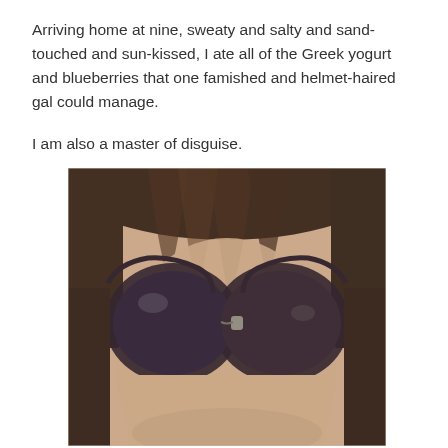Arriving home at nine, sweaty and salty and sand-touched and sun-kissed, I ate all of the Greek yogurt and blueberries that one famished and helmet-haired gal could manage.
I am also a master of disguise.
[Figure (photo): Close-up selfie of a person wearing large round dark sunglasses with dark bangs visible, face cropped from forehead to just below nose, vintage/faded photo filter applied.]